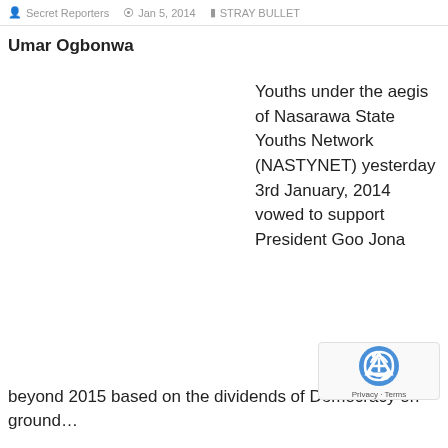Secret Reporters   Jan 5, 2014   STRAY BULLET
Umar Ogbonwa
Youths under the aegis of Nasarawa State Youths Network (NASTYNET) yesterday 3rd January, 2014 vowed to support President Goodluck Jonathan beyond 2015 based on the dividends of Democracy on ground...